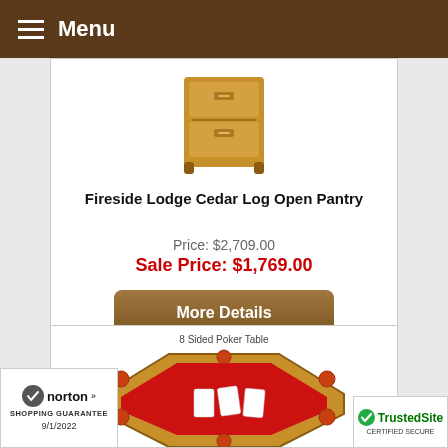Menu
[Figure (photo): Fireside Lodge Cedar Log Open Pantry furniture product image - wooden cabinet with drawers]
Fireside Lodge Cedar Log Open Pantry
Price: $2,709.00
Sale Price: $1,769.00
More Details
[Figure (photo): 8 Sided Poker Table - octagonal poker table with red felt surface and wooden rail with cup holders]
8 Sided Poker Table
[Figure (logo): Norton Shopping Guarantee badge dated 9/1/2022]
[Figure (logo): TrustedSite badge]